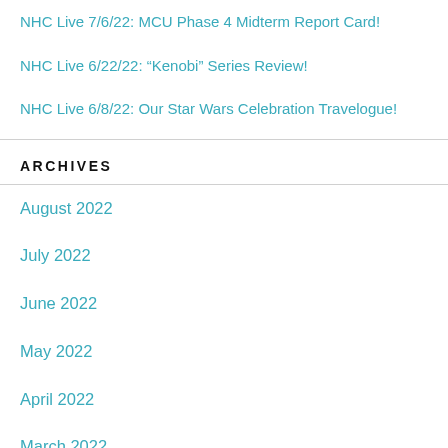NHC Live 7/6/22: MCU Phase 4 Midterm Report Card!
NHC Live 6/22/22: “Kenobi” Series Review!
NHC Live 6/8/22: Our Star Wars Celebration Travelogue!
ARCHIVES
August 2022
July 2022
June 2022
May 2022
April 2022
March 2022
February 2022